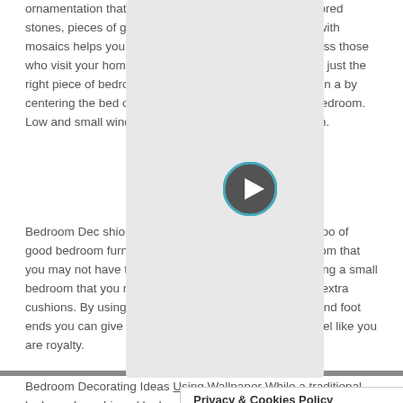ornamentation that is achieved through assembling colored stones, pieces of glass, or other materials. Decorating with mosaics helps you to create a unique structure to impress those who visit your home. for Mosaic Bedroom Furniture and just the right piece of bedroom . Using different colors to brighten a by centering the bed on the center look you want in your bedroom. Low and small windows often require a different ur bedroom.
[Figure (photo): A woman in a white coat laughing with a video play button overlay in the center]
Bedroom Dec shions Headboards and foot ends are impo of good bedroom furniture, but there are som small bedroom that you may not have thought about before. One way of filling a small bedroom that you may not have thought about is using extra cushions. By using extra cushions on your headboard and foot ends you can give your bed a look that will make you feel like you are royalty.
Bedroom Decorating Ideas Using Wallpaper While a traditional look can be achieved by hangin that is done
Privacy & Cookies Policy